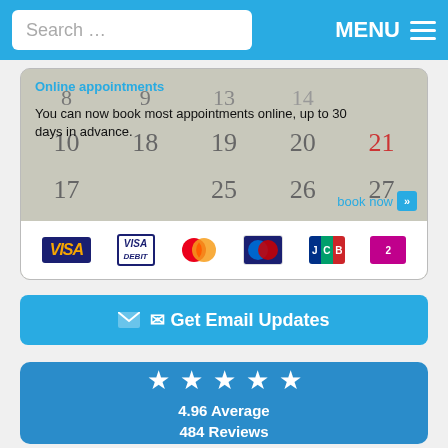Search ... MENU
[Figure (screenshot): Online appointments card with calendar background, text 'Online appointments' link, 'You can now book most appointments online, up to 30 days in advance.' and book now button, plus payment card logos (Visa, Visa Debit, Mastercard, Maestro, JCB, another)]
Online appointments
You can now book most appointments online, up to 30 days in advance.
book now
[Figure (infographic): Blue button: envelope icon and text 'Get Email Updates']
[Figure (infographic): Blue reviews card with 5 white stars and text '4.96 Average 484 Reviews']
4.96 Average
484 Reviews